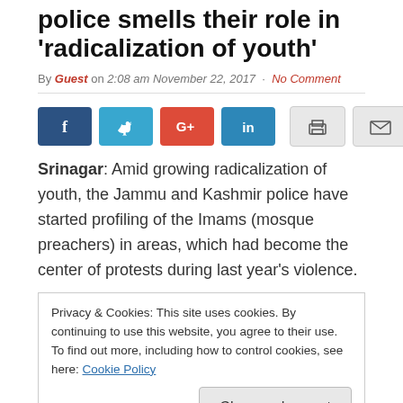police smells their role in ‘radicalization of youth’
By Guest on 2:08 am November 22, 2017 · No Comment
[Figure (other): Social sharing buttons: Facebook, Twitter, Google+, LinkedIn, Print, Email]
Srinagar: Amid growing radicalization of youth, the Jammu and Kashmir police have started profiling of the Imams (mosque preachers) in areas, which had become the center of protests during last year’s violence.
Privacy & Cookies: This site uses cookies. By continuing to use this website, you agree to their use.
To find out more, including how to control cookies, see here: Cookie Policy
Close and accept
Officials say that the focus of the survey is to list mosques